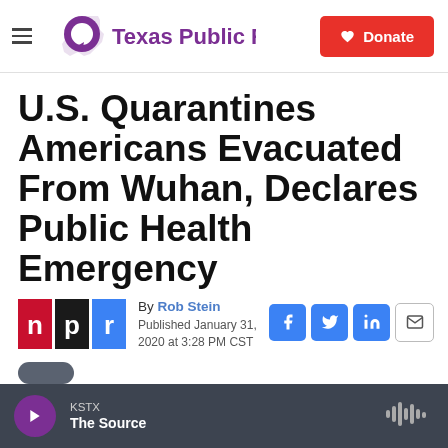Texas Public Radio — Donate
U.S. Quarantines Americans Evacuated From Wuhan, Declares Public Health Emergency
By Rob Stein
Published January 31, 2020 at 3:28 PM CST
[Figure (logo): NPR logo — red, black, and blue squares with letters n, p, r]
KSTX — The Source (audio player bar)